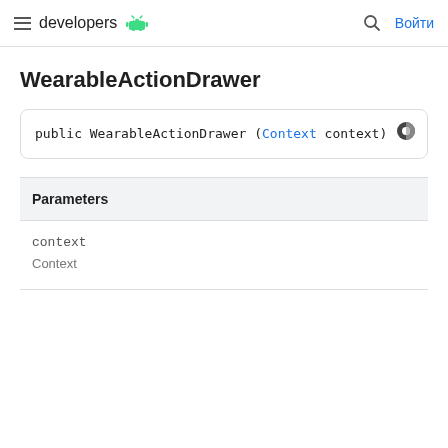developers [Android logo] | search | Войти
WearableActionDrawer
public WearableActionDrawer (Context context)
| Parameters |
| --- |
| context | Context |